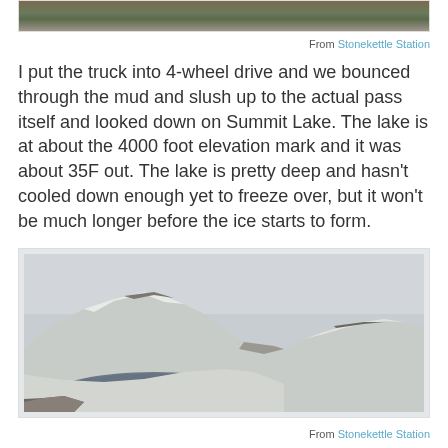[Figure (photo): Partial view of a landscape photo at top of page, showing rocky/earthy terrain]
From Stonekettle Station
I put the truck into 4-wheel drive and we bounced through the mud and slush up to the actual pass itself and looked down on Summit Lake. The lake is at about the 4000 foot elevation mark and it was about 35F out. The lake is pretty deep and hasn't cooled down enough yet to freeze over, but it won't be much longer before the ice starts to form.
[Figure (photo): Snow-covered mountain landscape with a small dark lake (Summit Lake) at the base, overcast sky]
From Stonekettle Station